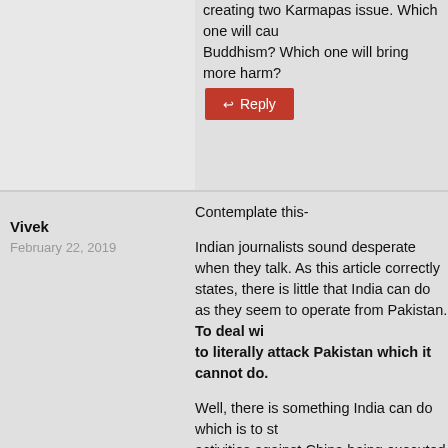creating two Karmapas issue. Which one will cause more harm to Buddhism? Which one will bring more harm?
Reply
Vivek
February 22, 2019
Contemplate this-

Indian journalists sound desperate when they talk. As this article correctly states, there is little that India can do as they seem to operate from Pakistan. To deal with them India has to literally attack Pakistan which it cannot do.

Well, there is something India can do which is to stop covert activities against China being executed from India. Tibet has been attacking China for decades, yet they say they wish to return. Who would return to a place you constantly criticize? The Dalai Lama wants China to allow him to visit the Five Peaks of Manjushri perhaps or to visit his birthplace in Amdo, Tibet. But if the Dalai Lama is anti-China why would they sit at the bargaining table with him? India allows this to happen on Indian soil, so that would irritate China.

Yet India wants concessions from China on the terrorism issue and equates Lashkar-e-Taiba (LeT) leader Hafiz Saeed with the Dalai Lama against China for five decades now. Further...